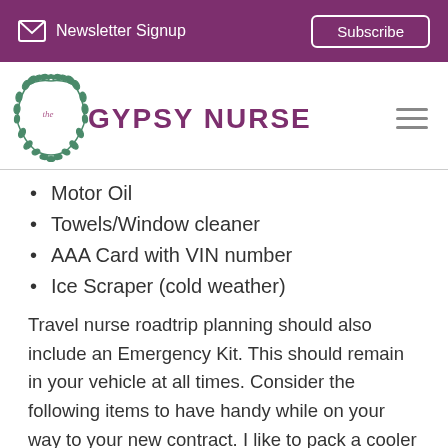Newsletter Signup   Subscribe
[Figure (logo): The Gypsy Nurse logo with wreath and purple text]
Motor Oil
Towels/Window cleaner
AAA Card with VIN number
Ice Scraper (cold weather)
Travel nurse roadtrip planning should also include an Emergency Kit. This should remain in your vehicle at all times. Consider the following items to have handy while on your way to your new contract. I like to pack a cooler and blanket so that I can find a relaxing picnic spot along the way. Nothings better than getting off the road for a few minutes